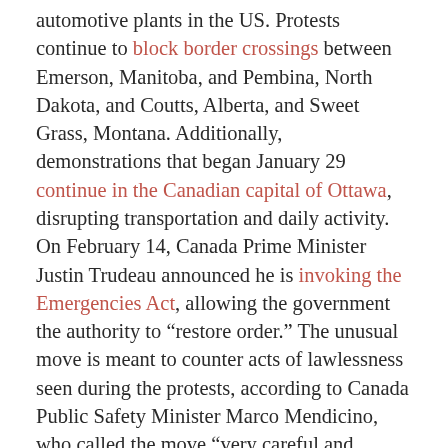automotive plants in the US. Protests continue to block border crossings between Emerson, Manitoba, and Pembina, North Dakota, and Coutts, Alberta, and Sweet Grass, Montana. Additionally, demonstrations that began January 29 continue in the Canadian capital of Ottawa, disrupting transportation and daily activity. On February 14, Canada Prime Minister Justin Trudeau announced he is invoking the Emergencies Act, allowing the government the authority to “restore order.” The unusual move is meant to counter acts of lawlessness seen during the protests, according to Canada Public Safety Minister Marco Mendicino, who called the move “very careful and deliberate.” Earlier on February 14, TD Bank—short for Toronto-Dominion Bank—froze approximately US$1.1 million that was intended to go to groups supporting the “Freedom Convoy”